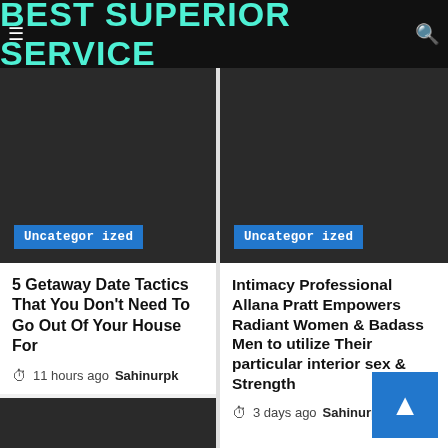BEST SUPERIOR SERVICE
[Figure (screenshot): Dark grey image placeholder with Uncategorized badge (left card)]
5 Getaway Date Tactics That You Don't Need To Go Out Of Your House For
11 hours ago  Sahinurpk
[Figure (screenshot): Dark grey image placeholder with Uncategorized badge (right card)]
Intimacy Professional Allana Pratt Empowers Radiant Women & Badass Men to utilize Their particular interior sex & Strength
3 days ago  Sahinurpk
[Figure (screenshot): Dark grey image placeholder (bottom left partial card)]